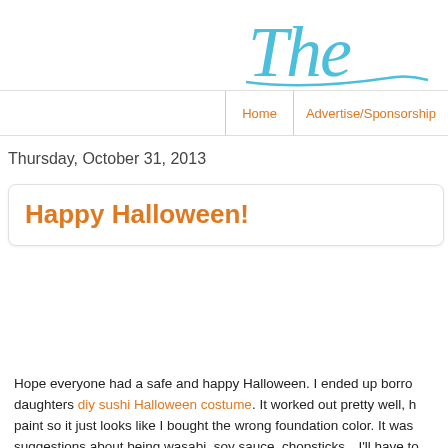The
Home | Advertise/Sponsorship
Thursday, October 31, 2013
Happy Halloween!
Hope everyone had a safe and happy Halloween.  I ended up borro daughters diy sushi Halloween costume.  It worked out pretty well, h paint so it just looks like I bought the wrong foundation color.  It was suggestions about being wasabi, soy sauce, chopsticks…I'll have to